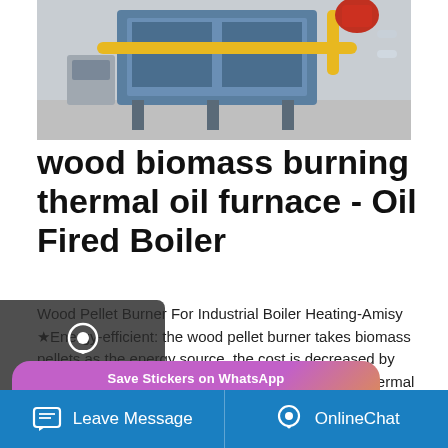[Figure (photo): Industrial wood biomass burning thermal oil furnace/boiler equipment on factory floor, showing blue metal structure with yellow pipes and red components]
wood biomass burning thermal oil furnace - Oil Fired Boiler
Wood Pellet Burner For Industrial Boiler Heating-Amisy ★Energy-efficient: the wood pellet burner takes biomass pellets as the energy source, the cost is decreased by 30%-60% compared to the fuel oil or gas. ★High thermal efficiency: adopt half-gasification burning and tangent swirl-flow type air distribution design, the combustion ratio can
[Figure (screenshot): Save Stickers on WhatsApp popup with phone and emoji icons on purple/orange gradient background]
[Figure (infographic): Bottom navigation bar with Leave Message and OnlineChat buttons in blue]